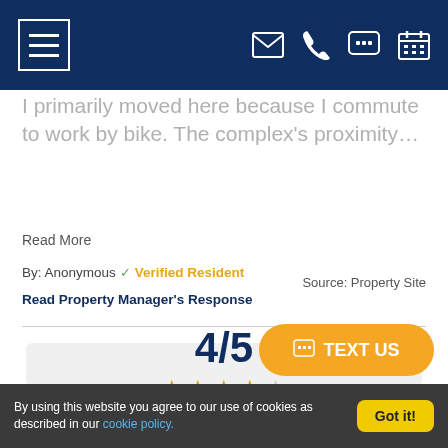Navigation bar with hamburger menu and icons for email, phone, chat, calendar
I primarily moved here because I commute to work by bike. The complex's proximity…
Read More
By: Anonymous ✓ Verified Resident
Source: Property Site
Read Property Manager's Response
[Figure (infographic): Rating card showing 4/5 with 4 filled stars and 1 empty star]
TEXT US
By using this website you agree to our use of cookies as described in our cookie policy. Got it!